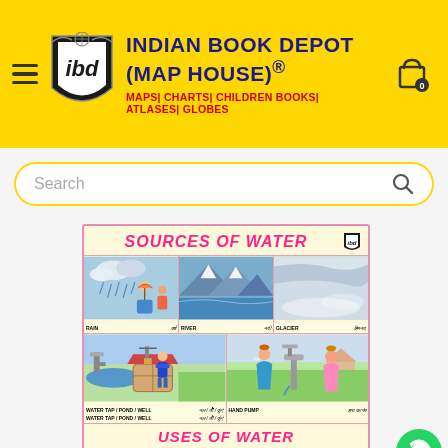INDIAN BOOK DEPOT (MAP HOUSE)® — MAPS| CHARTS| CHILDREN BOOKS| ATLASES| GLOBES
Search
[Figure (illustration): Educational chart titled 'SOURCES OF WATER' showing illustrations of Rain, River, Glacier (top row) and Water Tap/Pond/Well, Hand Pump (bottom row), followed by 'USES OF WATER' section with additional illustrations below.]